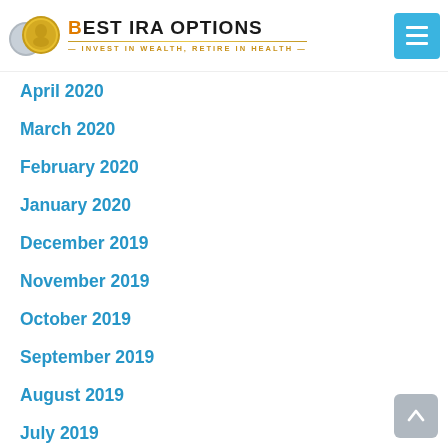BEST IRA OPTIONS — INVEST IN WEALTH, RETIRE IN HEALTH
April 2020
March 2020
February 2020
January 2020
December 2019
November 2019
October 2019
September 2019
August 2019
July 2019
June 2019
May 2019
April 2019
March 2019